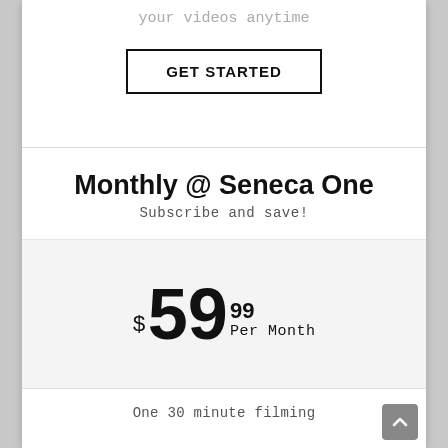your videos anytime
GET STARTED
Monthly @ Seneca One
Subscribe and save!
$59.99 Per Month
One 30 minute filming